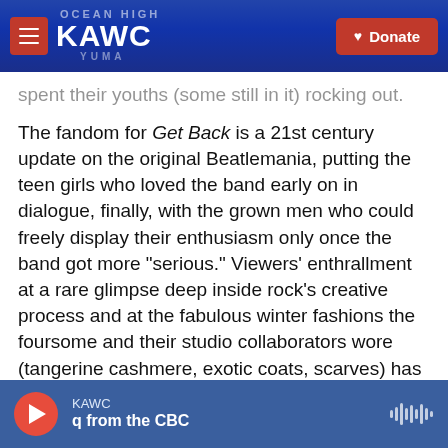KAWC | Donate
spent their youths (some still in it) rocking out.
The fandom for Get Back is a 21st century update on the original Beatlemania, putting the teen girls who loved the band early on in dialogue, finally, with the grown men who could freely display their enthusiasm only once the band got more "serious." Viewers' enthrallment at a rare glimpse deep inside rock's creative process and at the fabulous winter fashions the foursome and their studio collaborators wore (tangerine cashmere, exotic coats, scarves) has resounded in equal measure. And as in Beatlemania, the response has not been
KAWC
q from the CBC